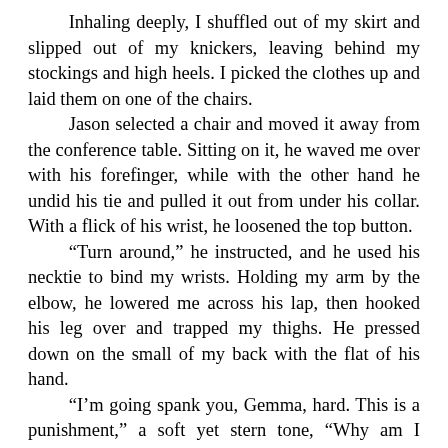Inhaling deeply, I shuffled out of my skirt and slipped out of my knickers, leaving behind my stockings and high heels. I picked the clothes up and laid them on one of the chairs.
	Jason selected a chair and moved it away from the conference table. Sitting on it, he waved me over with his forefinger, while with the other hand he undid his tie and pulled it out from under his collar. With a flick of his wrist, he loosened the top button.
	"Turn around," he instructed, and he used his necktie to bind my wrists. Holding my arm by the elbow, he lowered me across his lap, then hooked his leg over and trapped my thighs. He pressed down on the small of my back with the flat of his hand.
	"I'm going spank you, Gemma, hard. This is a punishment," a soft yet stern tone, "Why am I punishing you?"
	"Because I was indiscreet, Sir," I murmured. Underneath his hand, he must have been able to feel my racing heartbeats.
	I closed my eyes and waited. The smack swept across both cheeks. He'd kept his palm rigid and flat, swiping up from right to left. Pain radiated out immediately and I gasped. While I gritted my teeth,